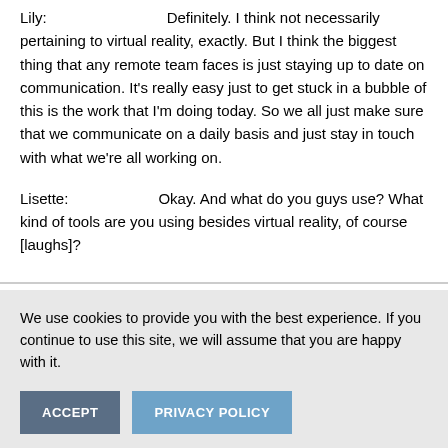Lily:                    Definitely. I think not necessarily pertaining to virtual reality, exactly. But I think the biggest thing that any remote team faces is just staying up to date on communication. It’s really easy just to get stuck in a bubble of this is the work that I’m doing today. So we all just make sure that we communicate on a daily basis and just stay in touch with what we’re all working on.
Lisette:              Okay. And what do you guys use? What kind of tools are you using besides virtual reality, of course [laughs]?
We use cookies to provide you with the best experience. If you continue to use this site, we will assume that you are happy with it.